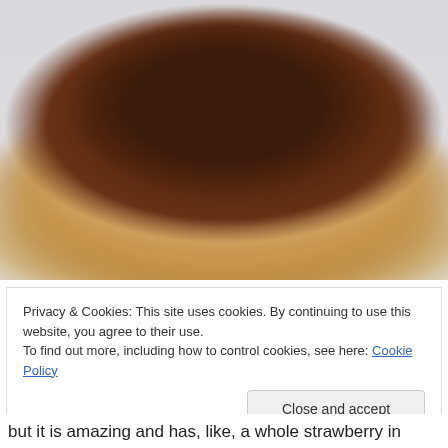[Figure (photo): A food item — a scone or biscuit with dark reddish-brown jam or preserve on top, sitting on a white surface. The baked good has a golden-cream color with a flaky texture.]
Privacy & Cookies: This site uses cookies. By continuing to use this website, you agree to their use.
To find out more, including how to control cookies, see here: Cookie Policy
Close and accept
but it is amazing and has, like, a whole strawberry in